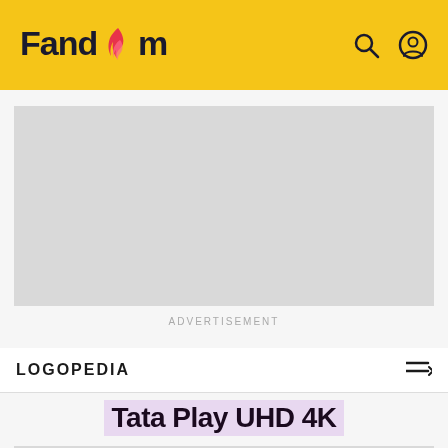Fandom
[Figure (other): Gray advertisement placeholder rectangle]
ADVERTISEMENT
LOGOPEDIA
Tata Play UHD 4K
[Figure (other): Gray image placeholder rectangle at bottom]